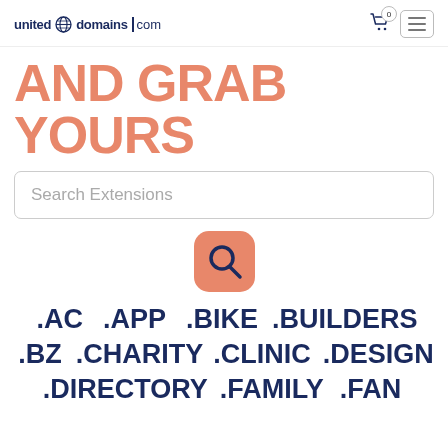united domains .com
AND GRAB YOURS
Search Extensions
[Figure (illustration): Salmon/coral rounded square button with a magnifying glass (search) icon in dark navy blue]
.AC  .APP  .BIKE  .BUILDERS  .BZ  .CHARITY  .CLINIC  .DESIGN  .DIRECTORY  .FAMILY  .FAN